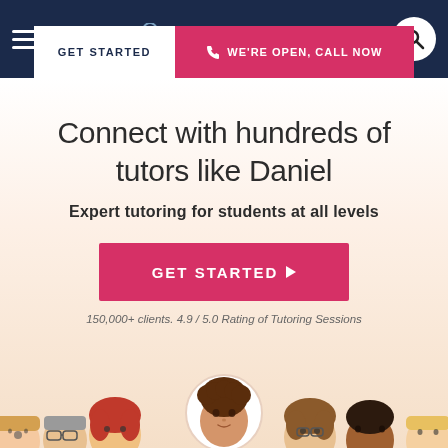[Figure (screenshot): Navigation bar with dark navy background containing hamburger menu icon on the left, Varsity Tutors logo in the center, and a search button (circular white button with magnifying glass icon) on the right. Below the logo area are two CTA buttons: 'GET STARTED' (white) and 'WE'RE OPEN, CALL NOW' (pink/red with phone icon).]
Connect with hundreds of tutors like Daniel
Expert tutoring for students at all levels
GET STARTED
150,000+ clients. 4.9 / 5.0 Rating of Tutoring Sessions
[Figure (illustration): Row of illustrated cartoon avatar faces representing diverse tutors, with a larger central avatar (Daniel) prominently displayed in a white circle.]